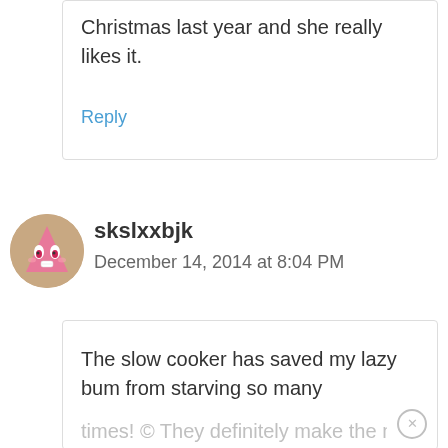Christmas last year and she really likes it.
Reply
[Figure (illustration): Cartoon avatar of a pink triangular character with eyes, used as user profile picture for skslxxbjk]
skslxxbjk
December 14, 2014 at 8:04 PM
The slow cooker has saved my lazy bum from starving so many times! © They definitely make the meal preparation a whole